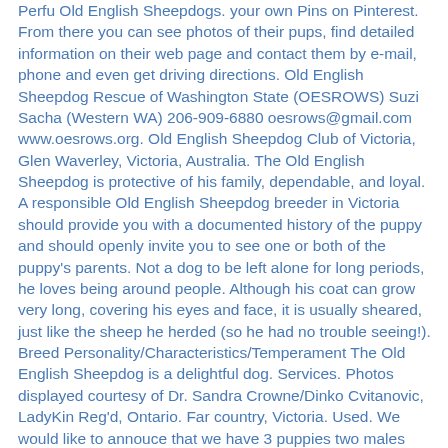Perfu Old English Sheepdogs. your own Pins on Pinterest. From there you can see photos of their pups, find detailed information on their web page and contact them by e-mail, phone and even get driving directions. Old English Sheepdog Rescue of Washington State (OESROWS) Suzi Sacha (Western WA) 206-909-6880 oesrows@gmail.com www.oesrows.org. Old English Sheepdog Club of Victoria, Glen Waverley, Victoria, Australia. The Old English Sheepdog is protective of his family, dependable, and loyal. A responsible Old English Sheepdog breeder in Victoria should provide you with a documented history of the puppy and should openly invite you to see one or both of the puppy's parents. Not a dog to be left alone for long periods, he loves being around people. Although his coat can grow very long, covering his eyes and face, it is usually sheared, just like the sheep he herded (so he had no trouble seeing!). Breed Personality/Characteristics/Temperament The Old English Sheepdog is a delightful dog. Services. Photos displayed courtesy of Dr. Sandra Crowne/Dinko Cvitanovic, LadyKin Reg'd, Ontario. Far country, Victoria. Used. We would like to annouce that we have 3 puppies two males and one female all coloured ready to go now 16 weeks old. Important: Breeders.net has not screened the listed breeders and accepts no responsibility for their reputation or quality. Today's Old English Sheepdogs enjoy a variety of dog sports such as agility, rally obedience, flyball, tracking, obedience, Schutzhund, and of course, herding events. Discover (and save!) Australia: Dogs > Breeders > Old English Sheepdog. All Classifieds / Victoria. Before researching Old English Sheepdog puppies for sale in Victoria it is important to ensure that you and your family are